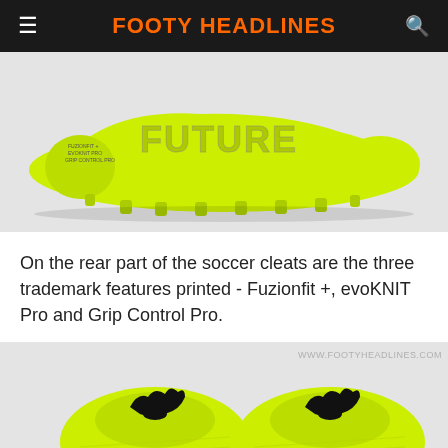FOOTY HEADLINES
[Figure (photo): Bottom view of a yellow-green Puma Future soccer cleat showing studs and 'FUTURE' text on the side with Fuzionfit+, evoKNIT Pro, Grip Control Pro labels]
On the rear part of the soccer cleats are the three trademark features printed - Fuzionfit +, evoKNIT Pro and Grip Control Pro.
[Figure (photo): Top-down view of a pair of yellow-green Puma Future soccer cleats with black Puma cat logos on each shoe]